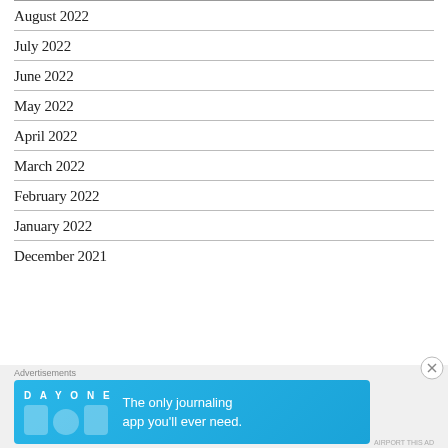August 2022
July 2022
June 2022
May 2022
April 2022
March 2022
February 2022
January 2022
December 2021
Advertisements
[Figure (illustration): Day One journaling app advertisement banner with text 'The only journaling app you'll ever need.']